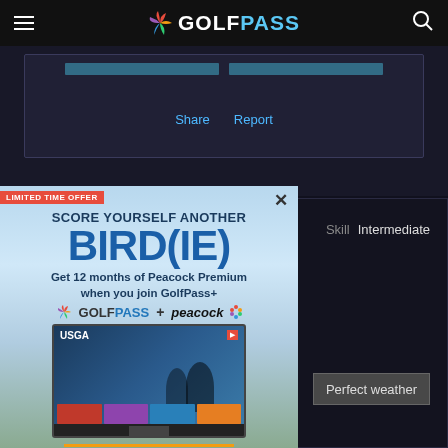GolfPass
Share   Report
[Figure (screenshot): GolfPass advertisement overlay: LIMITED TIME OFFER - SCORE YOURSELF ANOTHER BIRD(IE) - Get 12 months of Peacock Premium when you join GolfPass+ - GolfPass + peacock logos - USGA screen image - JOIN NOW button - $4.99/mo. pricing fine print]
Skill   Intermediate
Perfect weather